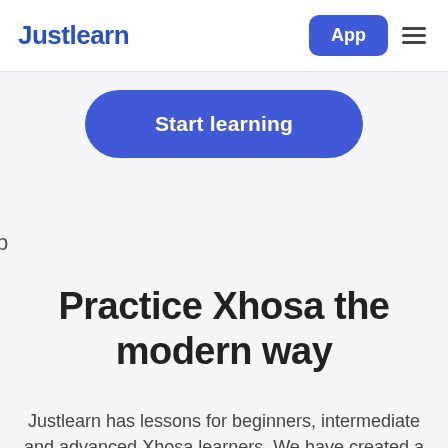Justlearn  App ≡
[Figure (other): Blue rounded 'Start learning' button]
p
Practice Xhosa the modern way
Justlearn has lessons for beginners, intermediate and advanced Xhosa learners. We have created a